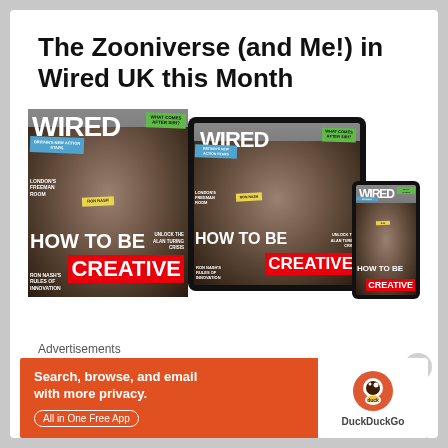The Zooniverse (and Me!) in Wired UK this Month
[Figure (photo): Wired UK magazine cover showing man with beret, headline HOW TO BE CREATIVE, shown as print magazine, tablet, and smartphone versions]
Advertisements
[Figure (infographic): DuckDuckGo advertisement banner: Search, browse, and email with more privacy. All in One Free App. DuckDuckGo logo.]